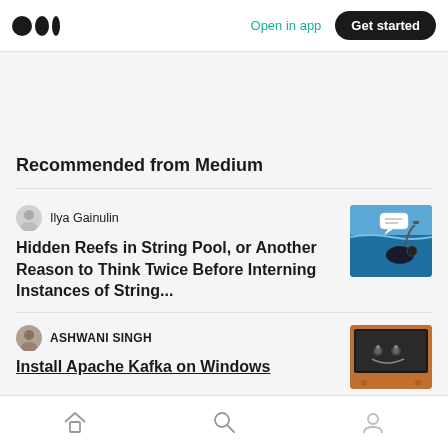Medium logo | Open in app | Get started
Recommended from Medium
Ilya Gainulin
Hidden Reefs in String Pool, or Another Reason to Think Twice Before Interning Instances of String...
[Figure (illustration): Thumbnail image showing underwater scene with cartoon fish and snorkeling gear]
ASHWANI SINGH
Install Apache Kafka on Windows
[Figure (photo): Thumbnail image with orange/brown tones showing computer setup]
Home | Search | Profile navigation icons